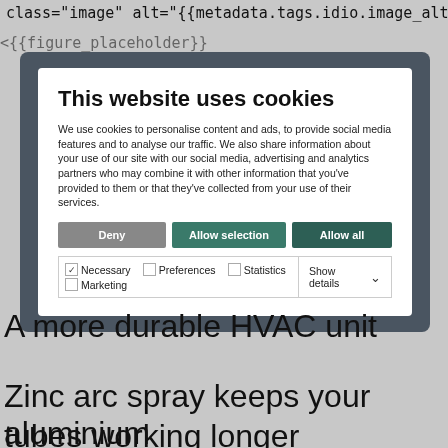class="image" alt="{{metadata.tags.idio.image_alttext}}" />
[Figure (screenshot): Cookie consent modal dialog with title 'This website uses cookies', descriptive text about cookie usage, three buttons (Deny, Allow selection, Allow all), and checkboxes for Necessary, Preferences, Statistics, Marketing with a Show details dropdown.]
A more durable HVAC unit
Zinc arc spray keeps your aluminium tubes working longer